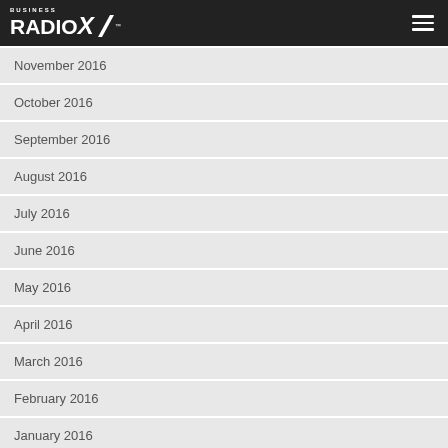Business RadioX
November 2016
October 2016
September 2016
August 2016
July 2016
June 2016
May 2016
April 2016
March 2016
February 2016
January 2016